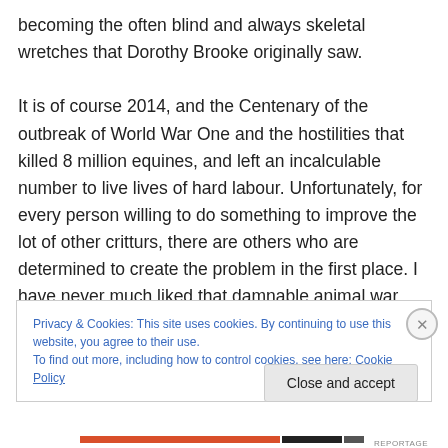becoming the often blind and always skeletal wretches that Dorothy Brooke originally saw.

It is of course 2014, and the Centenary of the outbreak of World War One and the hostilities that killed 8 million equines, and left an incalculable number to live lives of hard labour. Unfortunately, for every person willing to do something to improve the lot of other critturs, there are others who are determined to create the problem in the first place. I have never much liked that damnable animal war memorial in Hyde Park, because to me that two
Privacy & Cookies: This site uses cookies. By continuing to use this website, you agree to their use.
To find out more, including how to control cookies, see here: Cookie Policy
Close and accept